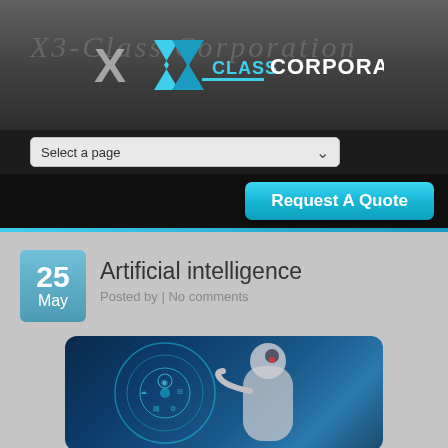[Figure (logo): X3-Class Corporation logo with stylized X and sigma symbol in blue/silver, with italic script watermark behind]
[Figure (screenshot): Navigation dropdown element reading 'Select a page' with chevron]
Request A Quote
Artificial intelligence
Posted by | No comments
[Figure (photo): Humanoid robot touching its temple, surrounded by blue holographic circular interface with technology icons]